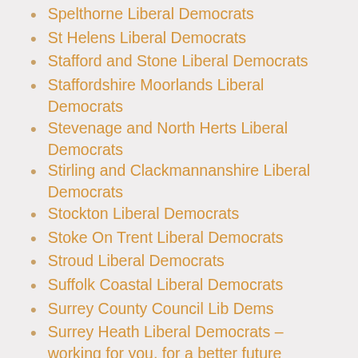Spelthorne Liberal Democrats
St Helens Liberal Democrats
Stafford and Stone Liberal Democrats
Staffordshire Moorlands Liberal Democrats
Stevenage and North Herts Liberal Democrats
Stirling and Clackmannanshire Liberal Democrats
Stockton Liberal Democrats
Stoke On Trent Liberal Democrats
Stroud Liberal Democrats
Suffolk Coastal Liberal Democrats
Surrey County Council Lib Dems
Surrey Heath Liberal Democrats – working for you, for a better future
Sutton Coldfield and Erdington Liberal Democrats
Tewkesbury Liberal Democrats
Thirsk and Malton Liberal Democrats
Tiverton and Honiton Liberal Democrats
Tonbridge, Chatham and Malling Liberal Democrats
Totnes & Bridport Liberal Democrats